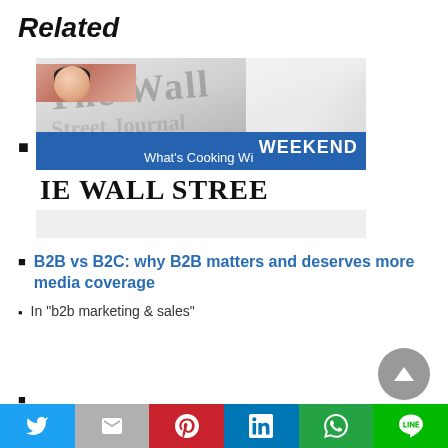Related
[Figure (photo): Newspaper photo showing Wall Street Journal front page with 'WEEKEND' blue banner and 'What's Cooking Wi...' headline, woman's face visible, 'IE WALL STREE...' masthead text]
B2B vs B2C: why B2B matters and deserves more media coverage
In "b2b marketing & sales"